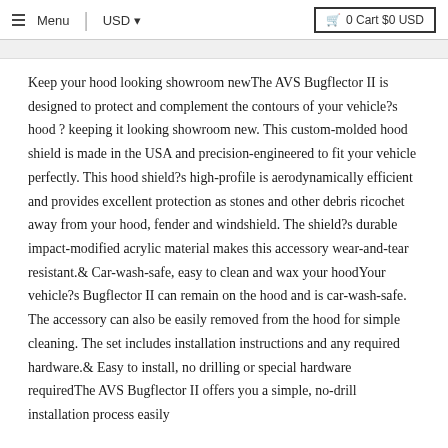Menu | USD ▾   🛒 0 Cart $0 USD
Keep your hood looking showroom newThe AVS Bugflector II is designed to protect and complement the contours of your vehicle?s hood ? keeping it looking showroom new. This custom-molded hood shield is made in the USA and precision-engineered to fit your vehicle perfectly. This hood shield?s high-profile is aerodynamically efficient and provides excellent protection as stones and other debris ricochet away from your hood, fender and windshield. The shield?s durable impact-modified acrylic material makes this accessory wear-and-tear resistant.& Car-wash-safe, easy to clean and wax your hoodYour vehicle?s Bugflector II can remain on the hood and is car-wash-safe. The accessory can also be easily removed from the hood for simple cleaning. The set includes installation instructions and any required hardware.& Easy to install, no drilling or special hardware requiredThe AVS Bugflector II offers you a simple, no-drill installation process easily